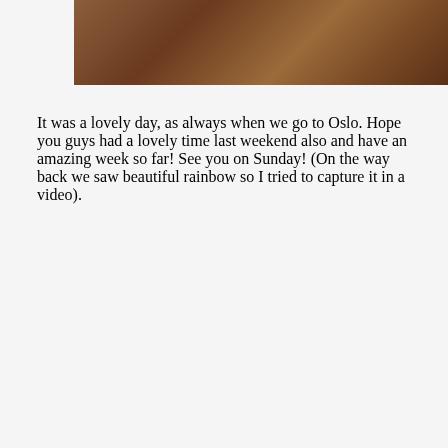[Figure (photo): Close-up photo of food items (sausages or similar) in a pan or dish, warm brown tones]
It was a lovely day, as always when we go to Oslo. Hope you guys had a lovely time last weekend also and have an amazing week so far! See you on Sunday! (On the way back we saw beautiful rainbow so I tried to capture it in a video).
[Figure (screenshot): Video player showing a dark house scene at night with a media error overlay: 'The media could not be loaded, either because the server or network failed or because the format is not supported.' with an X in a circle icon]